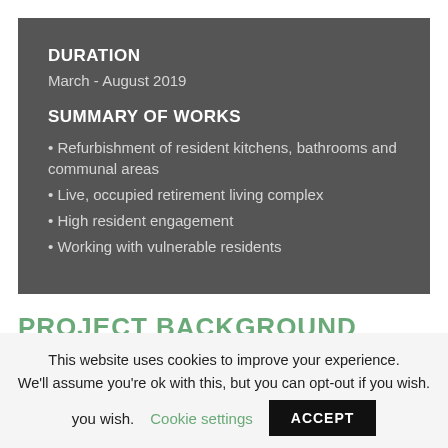DURATION
March - August 2019
SUMMARY OF WORKS
Refurbishment of resident kitchens, bathrooms and communal areas
Live, occupied retirement living complex
High resident engagement
Working with vulnerable residents
PROJECT BACKGROUND
This website uses cookies to improve your experience. We'll assume you're ok with this, but you can opt-out if you wish. Cookie settings ACCEPT